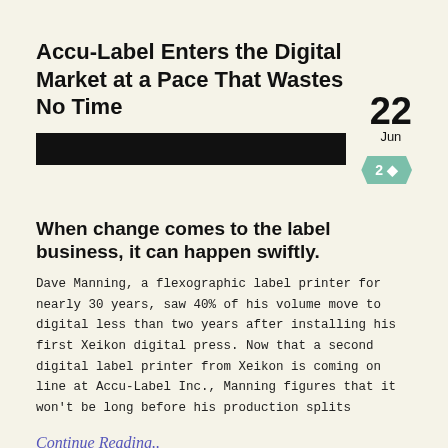Accu-Label Enters the Digital Market at a Pace That Wastes No Time
[Figure (other): Black horizontal bar used as a graphic divider element, with date '22 Jun' displayed to the right and a teal ribbon badge showing '2 ♦' below]
When change comes to the label business, it can happen swiftly.
Dave Manning, a flexographic label printer for nearly 30 years, saw 40% of his volume move to digital less than two years after installing his first Xeikon digital press. Now that a second digital label printer from Xeikon is coming on line at Accu-Label Inc., Manning figures that it won't be long before his production splits
Continue Reading..